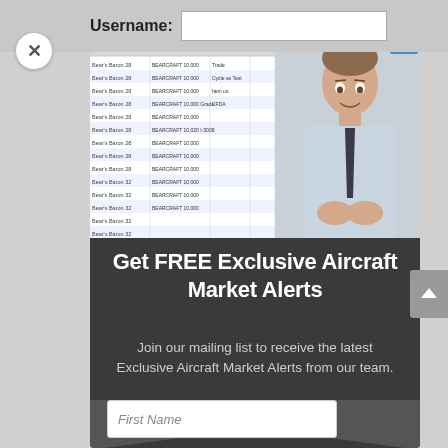Username:
[Figure (screenshot): A man in a white shirt and dark tie stands in front of a spreadsheet/data table on a screen. The table shows multiple rows of data with colored row entries.]
Get FREE Exclusive Aircraft Market Alerts
Join our mailing list to receive the latest Exclusive Aircraft Market Alerts from our team.
First Name